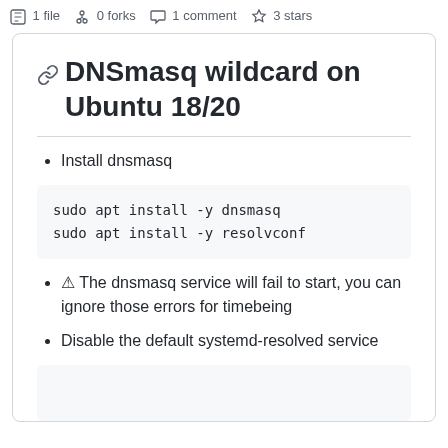1 file  0 forks  1 comment  3 stars
DNSmasq wildcard on Ubuntu 18/20
Install dnsmasq
sudo apt install -y dnsmasq
sudo apt install -y resolvconf
⚠ The dnsmasq service will fail to start, you can ignore those errors for timebeing
Disable the default systemd-resolved service